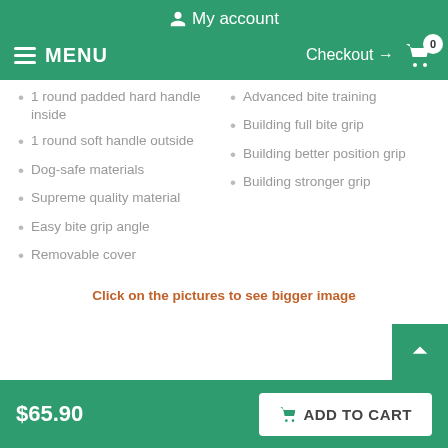My account
MENU  Checkout → 0
1 round padded hard handle inside
Advanced bite training
1 round soft handle outside
Building full bite grip
Dog-safe materials
Building better position grip
Supreme quality material
Building stronger grip
Easy bite grip angle
Removable cover
Click on the pictures to see bigger image
$65.90  ADD TO CART